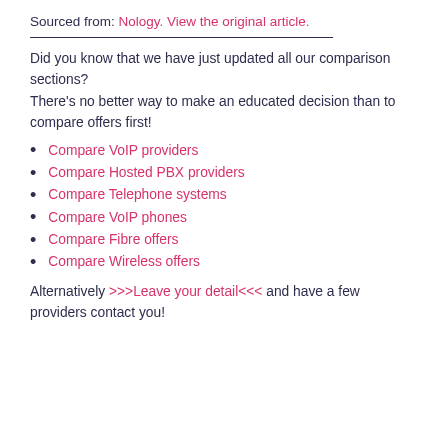Sourced from: Nology. View the original article.
Did you know that we have just updated all our comparison sections? There’s no better way to make an educated decision than to compare offers first!
Compare VoIP providers
Compare Hosted PBX providers
Compare Telephone systems
Compare VoIP phones
Compare Fibre offers
Compare Wireless offers
Alternatively >>>Leave your detail<<< and have a few providers contact you!